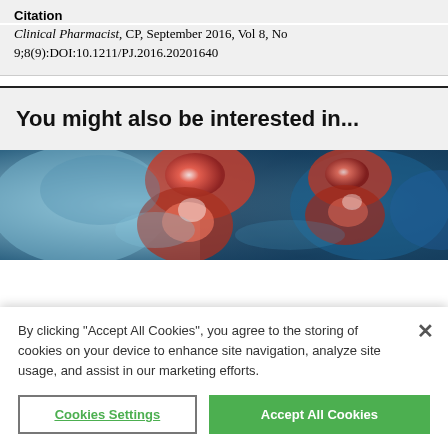Citation
Clinical Pharmacist, CP, September 2016, Vol 8, No 9;8(9):DOI:10.1211/PJ.2016.20201640
You might also be interested in...
[Figure (photo): Medical illustration showing inflamed joints or anatomy in red and blue tones]
By clicking “Accept All Cookies”, you agree to the storing of cookies on your device to enhance site navigation, analyze site usage, and assist in our marketing efforts.
Cookies Settings
Accept All Cookies